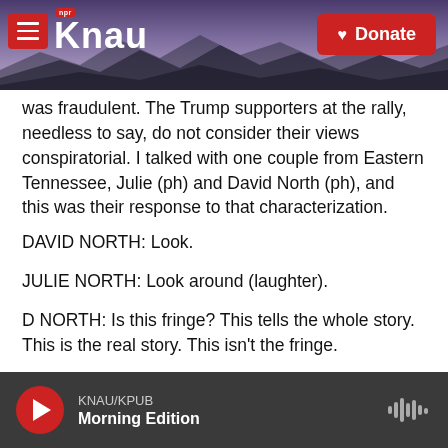KNAU NPR - Donate
was fraudulent. The Trump supporters at the rally, needless to say, do not consider their views conspiratorial. I talked with one couple from Eastern Tennessee, Julie (ph) and David North (ph), and this was their response to that characterization.
DAVID NORTH: Look.
JULIE NORTH: Look around (laughter).
D NORTH: Is this fringe? This tells the whole story. This is the real story. This isn't the fringe.
KNAU/KPUB Morning Edition